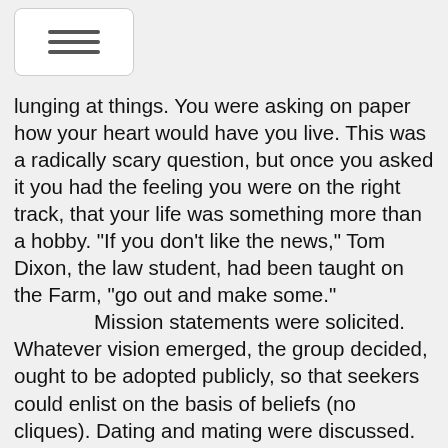≡ (hamburger menu icon)
lunging at things. You were asking on paper how your heart would have you live. This was a radically scary question, but once you asked it you had the feeling you were on the right track, that your life was something more than a hobby. "If you don't like the news," Tom Dixon, the law student, had been taught on the Farm, "go out and make some."
    Mission statements were solicited. Whatever vision emerged, the group decided, ought to be adopted publicly, so that seekers could enlist on the basis of beliefs (no cliques). Dating and mating were discussed. No values would be forced or frowned upon, but coparenting seemed the goal. "Maybe one year Dick and Jane decide to have a child," says George Gleason, the telepreneur, "maybe the next year Dick and Suzie, maybe the next year Suzie and Tom."
    Land: Someone heard of a couple hundred